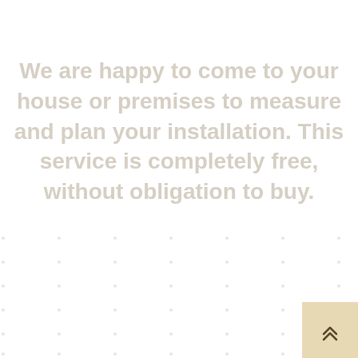We are happy to come to your house or premises to measure and plan your installation. This service is completely free, without obligation to buy.
[Figure (other): A dotted pattern background at the bottom of the page, consisting of small dots arranged in a grid, in a light beige/tan color.]
[Figure (other): A scroll-to-top button in the bottom-right corner: a square with a warm tan/gold background color containing a double upward chevron arrow icon.]